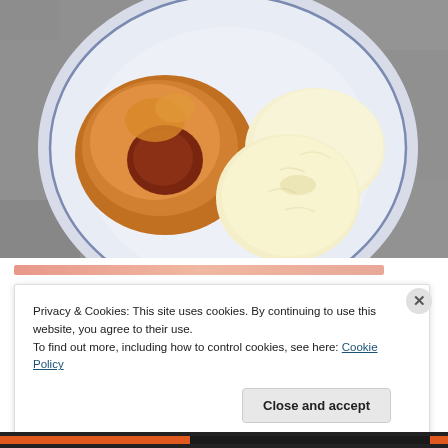[Figure (photo): A blue and white plate on a grey stone surface holding a caramelized baked peach or similar fruit dessert alongside two scoops of vanilla ice cream.]
Privacy & Cookies: This site uses cookies. By continuing to use this website, you agree to their use.
To find out more, including how to control cookies, see here: Cookie Policy
Close and accept